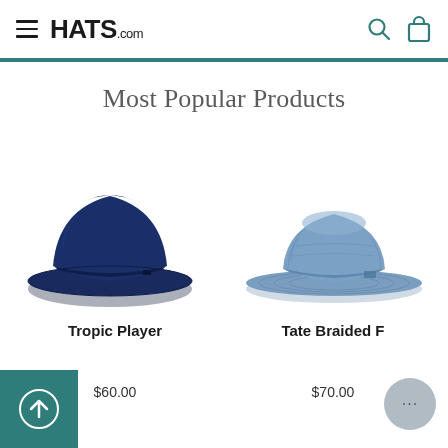HATS.com
Most Popular Products
[Figure (photo): Dark navy blue felt trilby/fedora hat (Tropic Player)]
[Figure (photo): Light blue braided straw fedora hat (Tate Braided F...)]
Tropic Player
Tate Braided F
$60.00
$70.00